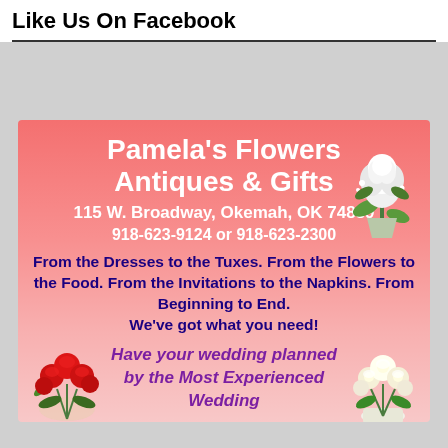Like Us On Facebook
[Figure (illustration): Advertisement for Pamela's Flowers Antiques & Gifts with pink/red gradient background, white rose boutonniere top right, red rose bouquet bottom left, white rose bouquet bottom right. Text includes business name, address, phone numbers, and wedding planning tagline.]